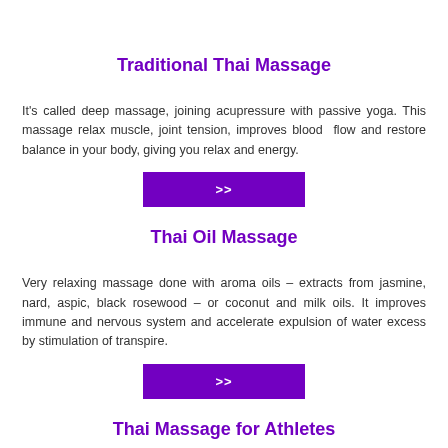us and encourage to do it often.
Traditional Thai Massage
It's called deep massage, joining acupressure with passive yoga. This massage relax muscle, joint tension, improves blood flow and restore balance in your body, giving you relax and energy.
[Figure (other): Purple button with >> arrow]
Thai Oil Massage
Very relaxing massage done with aroma oils – extracts from jasmine, nard, aspic, black rosewood – or coconut and milk oils. It improves immune and nervous system and accelerate expulsion of water excess by stimulation of transpire.
[Figure (other): Purple button with >> arrow]
Thai Massage for Athletes
It aid regeneration after long or intense exertion and keeping form while everyday exercise. This massage helps with a fatigue,